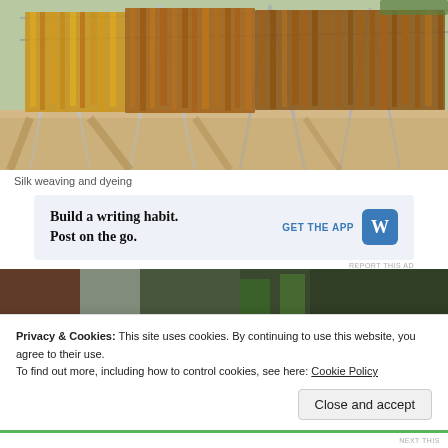[Figure (photo): Silk strands hanging on metal drying racks outdoors in sunlight, showing silk weaving and dyeing process with golden and reddish-brown colors]
Silk weaving and dyeing
[Figure (infographic): Advertisement banner: 'Build a writing habit. Post on the go.' with GET THE APP call to action and WordPress logo]
REPORT THIS AD
[Figure (photo): Partial view of an indoor market or shop with plants and displays, partially obscured by cookie consent banner]
Privacy & Cookies: This site uses cookies. By continuing to use this website, you agree to their use.
To find out more, including how to control cookies, see here: Cookie Policy
Close and accept